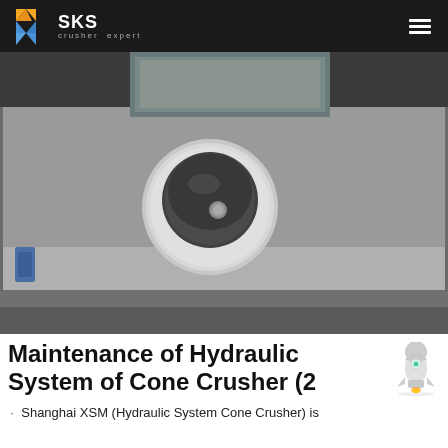SKS crusher expert
[Figure (photo): Close-up photograph of a hydraulic cylinder or piston component mounted on grey metal machinery, showing a dark rubber/metal piston head with a silver circular flange plate, industrial equipment background]
Maintenance of Hydraulic System of Cone Crusher (2
· Shanghai XSM (Hydraulic System Cone Crusher) is